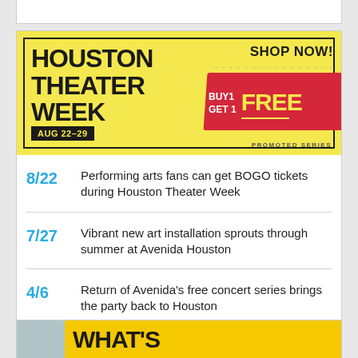[Figure (infographic): Houston Theater Week advertisement banner with yellow background, dark border, 'SHOP NOW!' text, BUY1 GET1 FREE ticket graphic, and date AUG 22-29. Promoted Series label.]
8/22  Performing arts fans can get BOGO tickets during Houston Theater Week
7/27  Vibrant new art installation sprouts through summer at Avenida Houston
4/6  Return of Avenida's free concert series brings the party back to Houston
[Figure (infographic): Partial bottom card showing a photo and 'WHAT'S' text on yellow background]